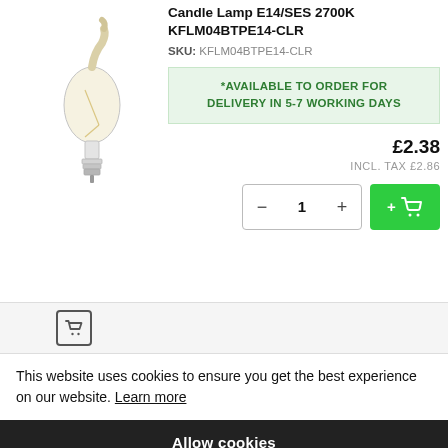Candle Lamp E14/SES 2700K KFLM04BTPE14-CLR
SKU: KFLM04BTPE14-CLR
*AVAILABLE TO ORDER FOR DELIVERY IN 5-7 WORKING DAYS
£2.38
INCL. TAX £2.86
[Figure (illustration): Candle lamp bulb with bent filament tip, clear glass, E14 base]
Kosnic 4w LED Filament Bent Tip Candle Lamp E27/ES 2700K
This website uses cookies to ensure you get the best experience on our website. Learn more
Allow cookies
feefo Reviews £2.38 INCL. TAX £2.86